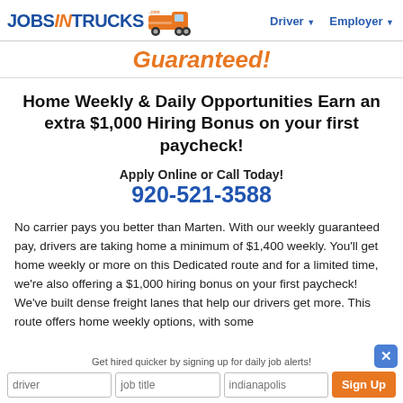JobsInTrucks.com — Driver | Employer
Guaranteed!
Home Weekly & Daily Opportunities Earn an extra $1,000 Hiring Bonus on your first paycheck!
Apply Online or Call Today!
920-521-3588
No carrier pays you better than Marten. With our weekly guaranteed pay, drivers are taking home a minimum of $1,400 weekly. You'll get home weekly or more on this Dedicated route and for a limited time, we're also offering a $1,000 hiring bonus on your first paycheck! We've built dense freight lanes that help our drivers get home more. This route offers home weekly options, with some
Get hired quicker by signing up for daily job alerts!
driver | job title | city | zip | indianapolis | Sign Up